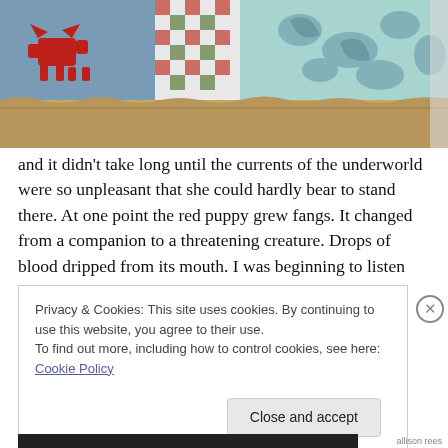[Figure (photo): A patchwork quilt or textile artwork featuring a red dog/puppy applique on blue fabric, with checkered and floral/damask fabric patches in blue, teal, red, and tan/brown colors.]
and it didn't take long until the currents of the underworld were so unpleasant that she could hardly bear to stand there. At one point the red puppy grew fangs. It changed from a companion to a threatening creature. Drops of blood dripped from its mouth. I was beginning to listen
Privacy & Cookies: This site uses cookies. By continuing to use this website, you agree to their use.
To find out more, including how to control cookies, see here: Cookie Policy
Close and accept